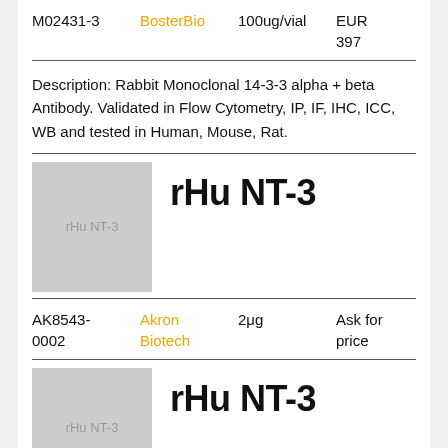| ID | Vendor | Quantity | Price |
| --- | --- | --- | --- |
| M02431-3 | BosterBio | 100ug/vial | EUR 397 |
Description: Rabbit Monoclonal 14-3-3 alpha + beta Antibody. Validated in Flow Cytometry, IP, IF, IHC, ICC, WB and tested in Human, Mouse, Rat.
[Figure (photo): Product image placeholder showing rHu NT-3 label on grey background]
rHu NT-3
| ID | Vendor | Quantity | Price |
| --- | --- | --- | --- |
| AK8543-0002 | Akron Biotech | 2μg | Ask for price |
[Figure (photo): Product image placeholder showing rHu NT-3 label on grey background]
rHu NT-3